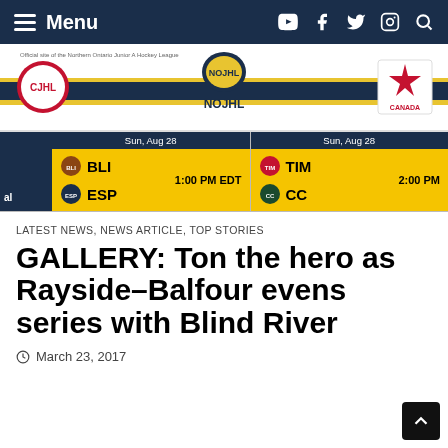Menu
[Figure (screenshot): NOJHL website header with CJHL logo on left, NOJHL logo in center, Hockey Canada logo on right, with navy and gold stripes]
[Figure (screenshot): Schedule bar showing two games: BLI vs ESP on Sun, Aug 28 at 1:00 PM EDT; TIM vs CC on Sun, Aug 28 at 2:00 PM]
LATEST NEWS, NEWS ARTICLE, TOP STORIES
GALLERY: Ton the hero as Rayside-Balfour evens series with Blind River
March 23, 2017